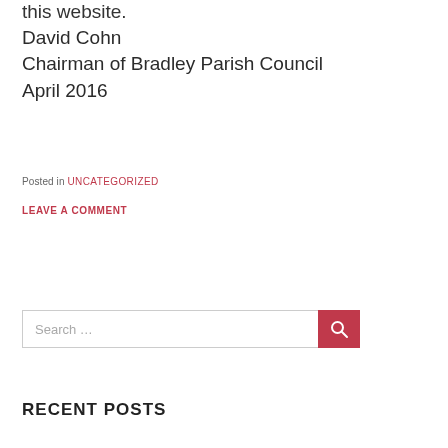this website.
David Cohn
Chairman of Bradley Parish Council
April 2016
Posted in UNCATEGORIZED
LEAVE A COMMENT
[Figure (other): Search box with text 'Search …' and a red search button with magnifying glass icon]
RECENT POSTS